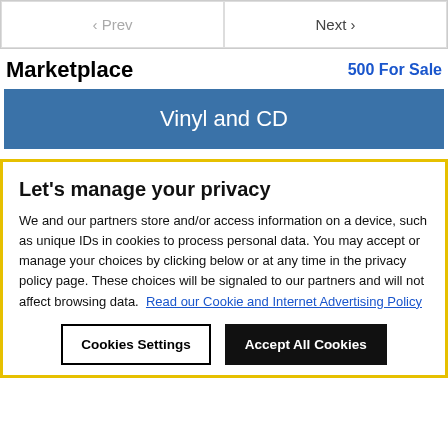[Figure (screenshot): Navigation bar with Prev and Next buttons]
Marketplace
500 For Sale
[Figure (screenshot): Vinyl and CD button (blue background)]
Let's manage your privacy
We and our partners store and/or access information on a device, such as unique IDs in cookies to process personal data. You may accept or manage your choices by clicking below or at any time in the privacy policy page. These choices will be signaled to our partners and will not affect browsing data.  Read our Cookie and Internet Advertising Policy
[Figure (screenshot): Cookies Settings and Accept All Cookies buttons]